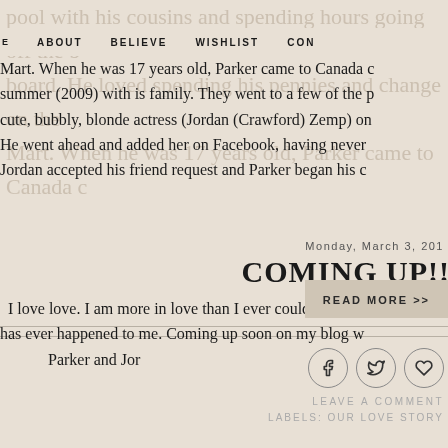ABOUT   BELIEVE   WISHLIST   CON
pool with his cousins and spending hours going off the board. He loved spending his pennies and change on the Mart. When he was 17 years old, Parker came to Canada summer (2009) with is family. They went to a few of the p cute, bubbly, blonde actress (Jordan (Crawford) Zemp) o He went ahead and added her on Facebook, having never Jordan accepted his friend request and Parker began his c
READ MORE >>
LEAVE A COMMENT
LABELS: OUR LOVE STORY
Monday, March 3, 201
COMING UP!!
I love love. I am more in love than I ever could have ima has ever happened to me. Coming up soon on my blog w